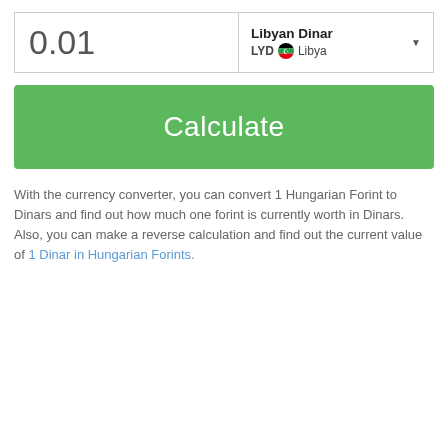| Amount | Currency |
| --- | --- |
| 0.01 | Libyan Dinar LYD 🇱🇾 Libya |
Calculate
With the currency converter, you can convert 1 Hungarian Forint to Dinars and find out how much one forint is currently worth in Dinars. Also, you can make a reverse calculation and find out the current value of 1 Dinar in Hungarian Forints.